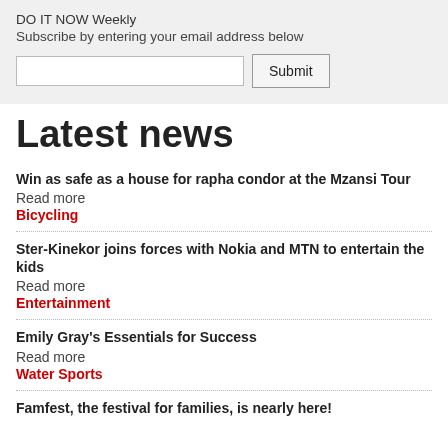DO IT NOW Weekly
Subscribe by entering your email address below
Win as safe as a house for rapha condor at the Mzansi Tour
Read more
Bicycling
Ster-Kinekor joins forces with Nokia and MTN to entertain the kids
Read more
Entertainment
Emily Gray's Essentials for Success
Read more
Water Sports
Famfest, the festival for families, is nearly here!